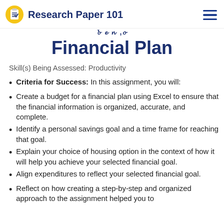Research Paper 101
Financial Plan
Skill(s) Being Assessed: Productivity
Criteria for Success: In this assignment, you will:
Create a budget for a financial plan using Excel to ensure that the financial information is organized, accurate, and complete.
Identify a personal savings goal and a time frame for reaching that goal.
Explain your choice of housing option in the context of how it will help you achieve your selected financial goal.
Align expenditures to reflect your selected financial goal.
Reflect on how creating a step-by-step and organized approach to the assignment helped you to…